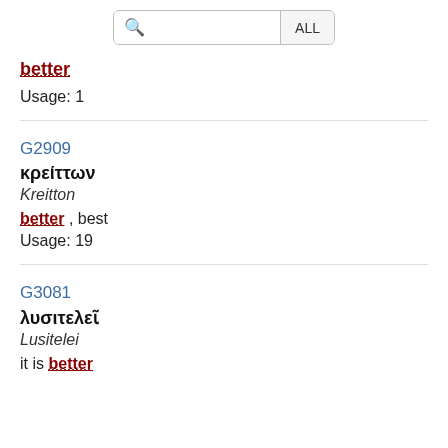Search ALL
better
Usage: 1
G2909
κρείττων
Kreitton
better , best
Usage: 19
G3081
λυσιτελεῖ
Lusitelei
it is better